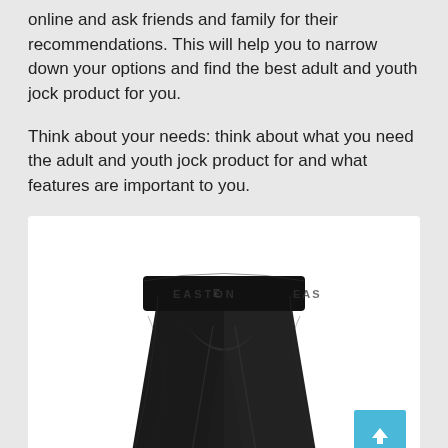online and ask friends and family for their recommendations. This will help you to narrow down your options and find the best adult and youth jock product for you.
Think about your needs: think about what you need the adult and youth jock product for and what features are important to you.
[Figure (photo): Black Easton brand athletic compression shorts/jock product shown against white background inside a card container. The waistband reads 'EASTON' repeatedly.]